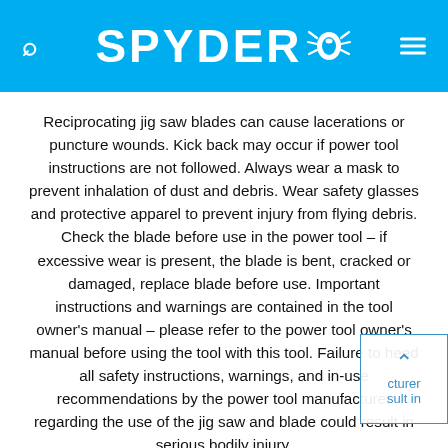SPYDER
Reciprocating jig saw blades can cause lacerations or puncture wounds. Kick back may occur if power tool instructions are not followed. Always wear a mask to prevent inhalation of dust and debris. Wear safety glasses and protective apparel to prevent injury from flying debris. Check the blade before use in the power tool – if excessive wear is present, the blade is bent, cracked or damaged, replace blade before use. Important instructions and warnings are contained in the tool owner's manual – please refer to the power tool owner's manual before using the tool with this tool. Failure to heed all safety instructions, warnings, and in-use recommendations by the power tool manufacturer regarding the use of the jig saw and blade could result in serious bodily injury.